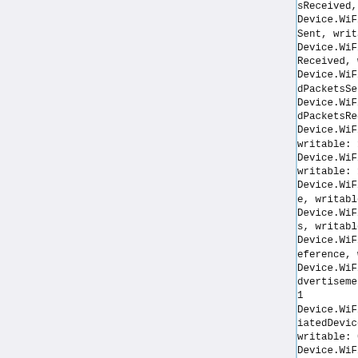Device.WiFi.SSID.1.Stats.PacketsReceived, writable: 0
Device.WiFi.SSID.1.Stats.ErrorsSent, writable: 0
Device.WiFi.SSID.1.Stats.ErrorsReceived, writable: 0
Device.WiFi.SSID.1.Stats.DiscardPacketsSent, writable: 0
Device.WiFi.SSID.1.Stats.DiscardPacketsReceived, writable: 0
Device.WiFi.AccessPoint., writable: 1
Device.WiFi.AccessPoint.1., writable: 1
Device.WiFi.AccessPoint.1.Enable, writable: 1
Device.WiFi.AccessPoint.1.Status, writable: 0
Device.WiFi.AccessPoint.1.SSIDReference, writable: 1
Device.WiFi.AccessPoint.1.SSIDAdvertisementEnabled, writable: 1
Device.WiFi.AccessPoint.1.AssociatedDeviceNumberOfEntries, writable: 0
Device.WiFi.AccessPoint.1.Security., writable: 0
Device.WiFi.AccessPoint.1.Secur